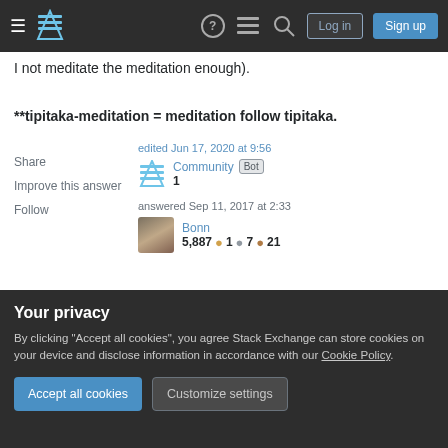Stack Exchange navigation bar with Log in and Sign up buttons
I not meditate the meditation enough).
**tipitaka-meditation = meditation follow tipitaka.
Share  Improve this answer  Follow
edited Jun 17, 2020 at 9:56
Community Bot 1
answered Sep 11, 2017 at 2:33
Bonn
5,887 ●1 ●7 ●21
1  I think that, in summary, you're saying that conditioned
Your privacy
By clicking "Accept all cookies", you agree Stack Exchange can store cookies on your device and disclose information in accordance with our Cookie Policy.
Accept all cookies  Customize settings